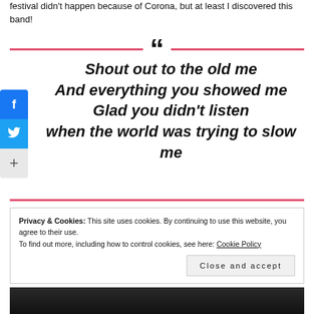festival didn't happen because of Corona, but at least I discovered this band!
Shout out to the old me
And everything you showed me
Glad you didn't listen
when the world was trying to slow me
Privacy & Cookies: This site uses cookies. By continuing to use this website, you agree to their use.
To find out more, including how to control cookies, see here: Cookie Policy
Close and accept
[Figure (photo): Dark photo strip at the bottom of the page]